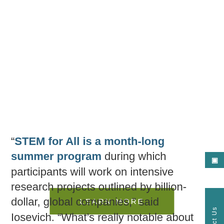[Figure (other): Green 'LEARN MORE' button centered on page, with teal 'Contact Us' vertical tab on the right edge]
“STEM for All is a month-long summer program during which participants will work on intensive research projects outlined by billion-dollar, global companies,” said Iosevich. “What’s really notable about our research programs is that women and underrepresented communities make up about 60% of the participants.” Participation in similar